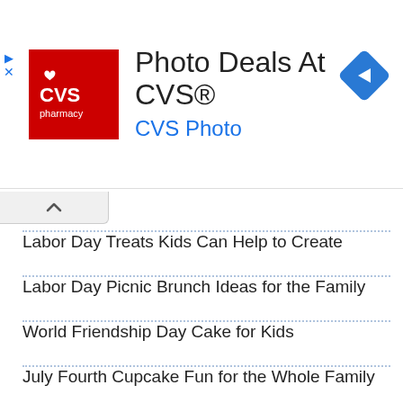[Figure (logo): CVS Pharmacy advertisement banner with CVS logo, title 'Photo Deals At CVS®', subtitle 'CVS Photo', and a blue navigation arrow icon]
Labor Day Treats Kids Can Help to Create
Labor Day Picnic Brunch Ideas for the Family
World Friendship Day Cake for Kids
July Fourth Cupcake Fun for the Whole Family
July 4th Mocktails for the Whole Family
Juky 4th S'more Bar Treat Ideas